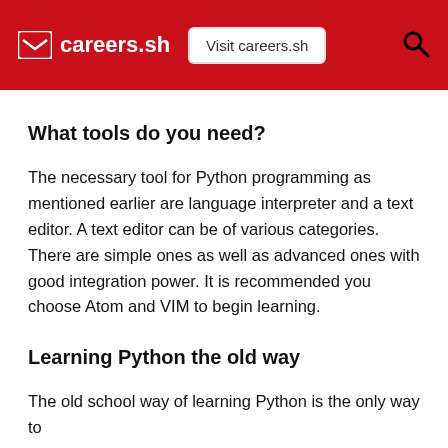careers.sh | Visit careers.sh
What tools do you need?
The necessary tool for Python programming as mentioned earlier are language interpreter and a text editor. A text editor can be of various categories. There are simple ones as well as advanced ones with good integration power. It is recommended you choose Atom and VIM to begin learning.
Learning Python the old way
The old school way of learning Python is the only way to...